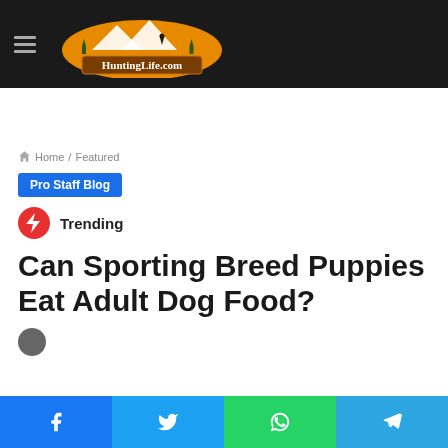HuntingLife.com
Home / Featured
Pro Staff Blog
Trending
Can Sporting Breed Puppies Eat Adult Dog Food?